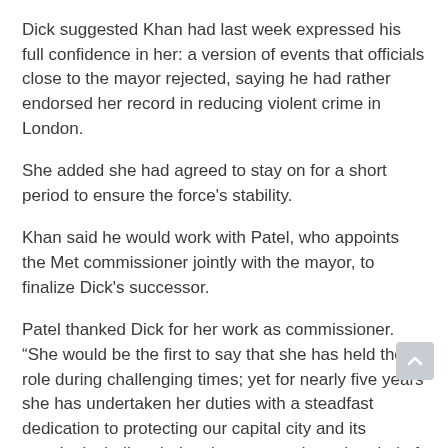Dick suggested Khan had last week expressed his full confidence in her: a version of events that officials close to the mayor rejected, saying he had rather endorsed her record in reducing violent crime in London.
She added she had agreed to stay on for a short period to ensure the force's stability.
Khan said he would work with Patel, who appoints the Met commissioner jointly with the mayor, to finalize Dick's successor.
Patel thanked Dick for her work as commissioner. “She would be the first to say that she has held the role during challenging times; yet for nearly five years she has undertaken her duties with a steadfast dedication to protecting our capital city and its people, including during the unprecedented period of the pandemic. ”